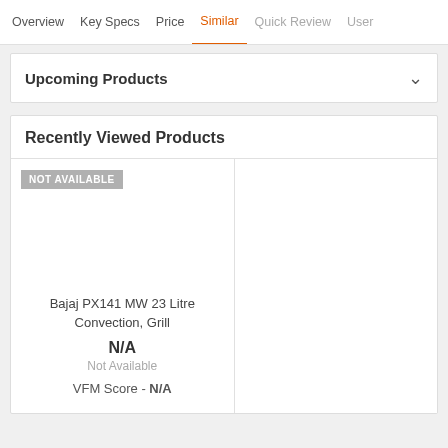Overview  Key Specs  Price  Similar  Quick Review  User
Upcoming Products
Recently Viewed Products
Bajaj PX141 MW 23 Litre Convection, Grill
N/A
Not Available
VFM Score - N/A